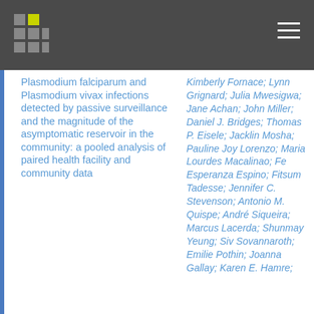Plasmodium falciparum and Plasmodium vivax infections detected by passive surveillance and the magnitude of the asymptomatic reservoir in the community: a pooled analysis of paired health facility and community data
Kimberly Fornace; Lynn Grignard; Julia Mwesigwa; Jane Achan; John Miller; Daniel J. Bridges; Thomas P. Eisele; Jacklin Mosha; Pauline Joy Lorenzo; Maria Lourdes Macalinao; Fe Esperanza Espino; Fitsum Tadesse; Jennifer C. Stevenson; Antonio M. Quispe; André Siqueira; Marcus Lacerda; Shunmay Yeung; Siv Sovannaroth; Emilie Pothin; Joanna Gallay; Karen E. Hamre;